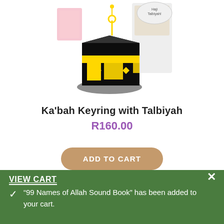[Figure (photo): A black Kaaba-shaped keyring toy with yellow stripe and decorative panels, shown with packaging in the background]
Ka'bah Keyring with Talbiyah
R160.00
ADD TO CART
VIEW CART
"99 Names of Allah Sound Book" has been added to your cart.